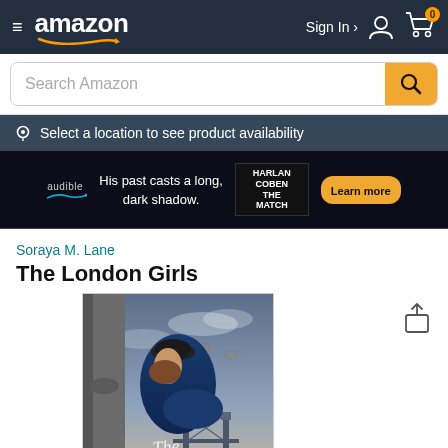Amazon navigation bar with hamburger menu, Amazon logo, Sign In, account icon, cart icon with 0 items
Search Amazon
Select a location to see product availability
[Figure (infographic): Audible advertisement banner: 'His past casts a long, dark shadow.' featuring Harlan Coben The Match with Learn more button]
Soraya M. Lane
The London Girls
[Figure (photo): Book cover for The London Girls by Soraya M. Lane showing a woman in a blue coat and black beret looking over her shoulder toward Tower Bridge with WWII aircraft in the sky]